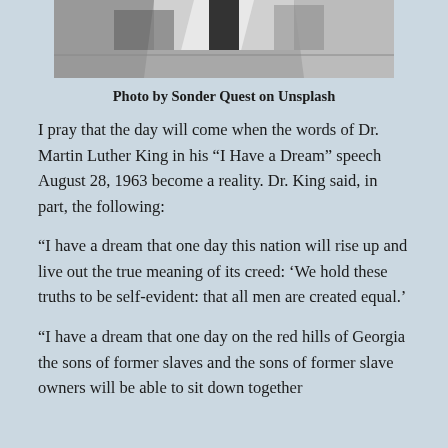[Figure (photo): Black and white photo of a monument or architectural structure with stone surfaces and shadows]
Photo by Sonder Quest on Unsplash
I pray that the day will come when the words of Dr. Martin Luther King in his “I Have a Dream” speech August 28, 1963 become a reality. Dr. King said, in part, the following:
“I have a dream that one day this nation will rise up and live out the true meaning of its creed: ‘We hold these truths to be self-evident: that all men are created equal.’
“I have a dream that one day on the red hills of Georgia the sons of former slaves and the sons of former slave owners will be able to sit down together